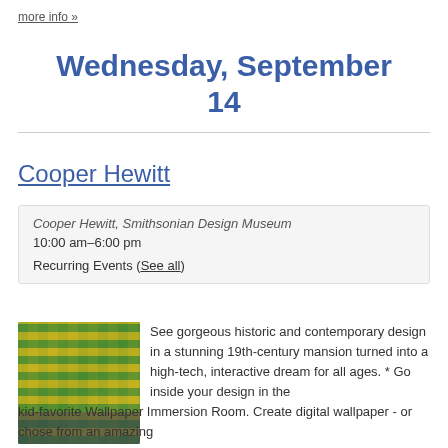more info »
Wednesday, September 14
Cooper Hewitt
| Cooper Hewitt, Smithsonian Design Museum |
| 10:00 am–6:00 pm |
| Recurring Events (See all) |
[Figure (photo): Photo of decorative wallpaper with green and yellow repeating pattern in a museum room, with a person visible at the bottom interacting with a digital display.]
See gorgeous historic and contemporary design in a stunning 19th-century mansion turned into a high-tech, interactive dream for all ages. * Go inside your design in the kid-favorite Wallpaper Immersion Room. Create digital wallpaper  - or chose from an amazing